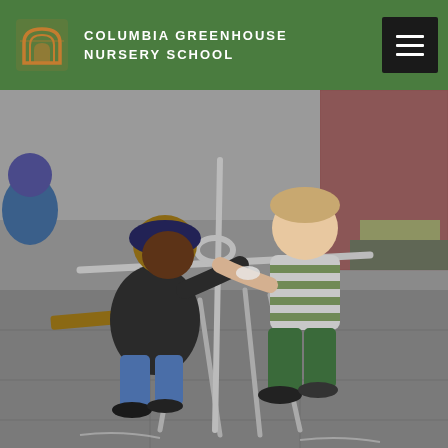COLUMBIA GREENHOUSE NURSERY SCHOOL
[Figure (photo): Two young children playing on a metal outdoor play structure (appears to be a seesaw or spinning ride-on toy) in a paved schoolyard. The child on the left wears a dark hooded jacket and jeans; the child on the right wears a green and white striped shirt and green pants. A third child in blue is partially visible on the far left.]